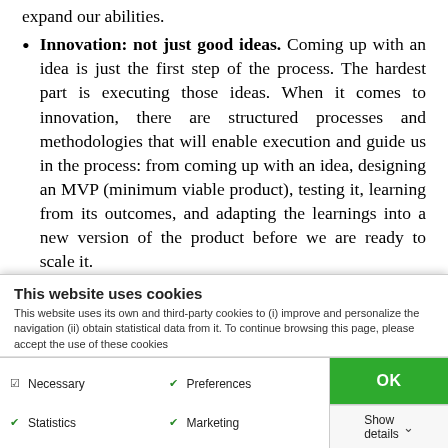Innovation: not just good ideas. Coming up with an idea is just the first step of the process. The hardest part is executing those ideas. When it comes to innovation, there are structured processes and methodologies that will enable execution and guide us in the process: from coming up with an idea, designing an MVP (minimum viable product), testing it, learning from its outcomes, and adapting the learnings into a new version of the product before we are ready to scale it.
Take calculated risks. Be ready for setbacks.
This website uses cookies
This website uses its own and third-party cookies to (i) improve and personalize the navigation (ii) obtain statistical data from it. To continue browsing this page, please accept the use of these cookies